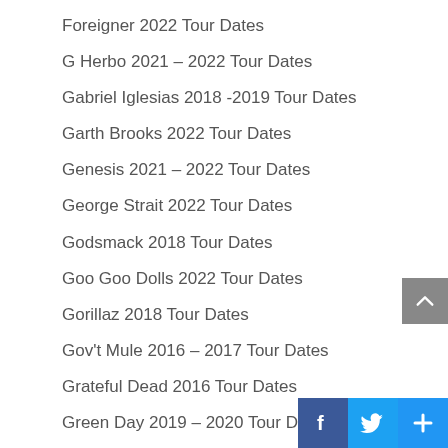Foreigner 2022 Tour Dates
G Herbo 2021 – 2022 Tour Dates
Gabriel Iglesias 2018 -2019 Tour Dates
Garth Brooks 2022 Tour Dates
Genesis 2021 – 2022 Tour Dates
George Strait 2022 Tour Dates
Godsmack 2018 Tour Dates
Goo Goo Dolls 2022 Tour Dates
Gorillaz 2018 Tour Dates
Gov't Mule 2016 – 2017 Tour Dates
Grateful Dead 2016 Tour Dates
Green Day 2019 – 2020 Tour Dates
Greta Van Fleet 2022 Tour Dates
Guns N' Roses 2021 – 2022 Tour Dates
Gwen Stefani 2019 Tour Dates